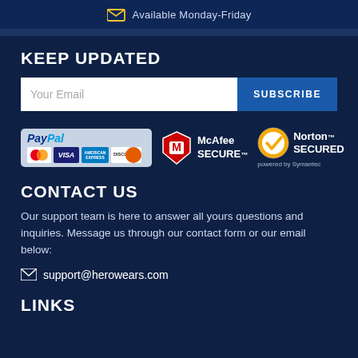Available Monday-Friday
KEEP UPDATED
Your Email | SUBSCRIBE
[Figure (logo): Payment badges: PayPal, Visa, MasterCard, American Express, Discover, McAfee SECURE, Norton SECURED powered by Symantec]
CONTACT US
Our support team is here to answer all yours questions and inquiries. Message us through our contact form or our email below:
support@herowears.com
LINKS